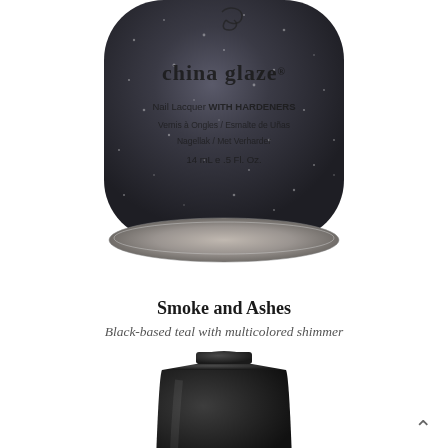[Figure (photo): Top portion of a dark sparkly China Glaze nail lacquer bottle cap. Label reads: china glaze, Nail Lacquer WITH HARDENERS, Vernis à Ongles / Esmalte de Uñas, Nagellak / Met Verharder, 14 mL e .5 Fl. Oz.]
Smoke and Ashes
Black-based teal with multicolored shimmer
[Figure (photo): Bottom portion of a dark black China Glaze nail lacquer bottle, showing the cap and tapered trapezoid body from a top-down perspective.]